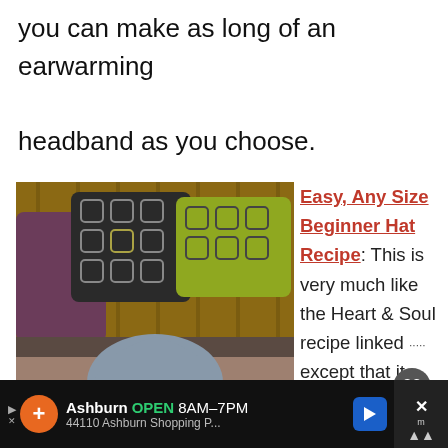you can make as long of an earwarming headband as you choose.
[Figure (photo): Photo of a grey knitted beanie hat on a mannequin head, with decorative pillows in the background]
Easy, Any Size Beginner Hat Recipe: This is very much like the Heart & Soul recipe linked... except that it
Ashburn  OPEN  8AM–7PM  44110 Ashburn Shopping P...